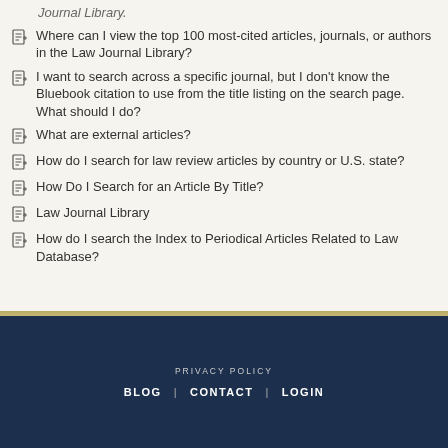Where can I view the top 100 most-cited articles, journals, or authors in the Law Journal Library?
I want to search across a specific journal, but I don't know the Bluebook citation to use from the title listing on the search page. What should I do?
What are external articles?
How do I search for law review articles by country or U.S. state?
How Do I Search for an Article By Title?
Law Journal Library
How do I search the Index to Periodical Articles Related to Law Database?
PRIVACY POLICY   BLOG | CONTACT | LOGIN